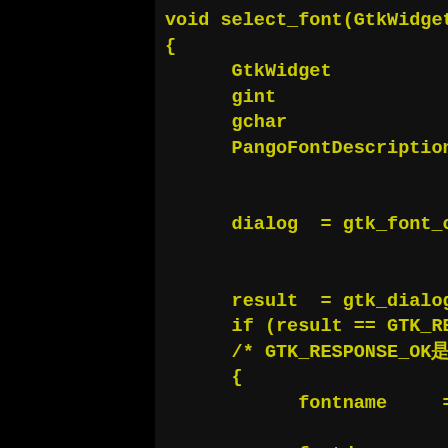[Figure (screenshot): Screenshot of C source code on black background with yellow monospace text. Shows a function 'void select_font(GtkWidget *widget, gpointer...)' with variable declarations (GtkWidget *dialog, gint result, gchar *fontname, PangoFontDescription *fontdesc), a dialog call to gtk_font_chooser_dialog_new, gtk_dialog_run, a conditional check on GTK_RESPONSE_OK, and calls to gtk_font_chooser_get_f... and pango_font_description... The code is partially cut off on the right.]